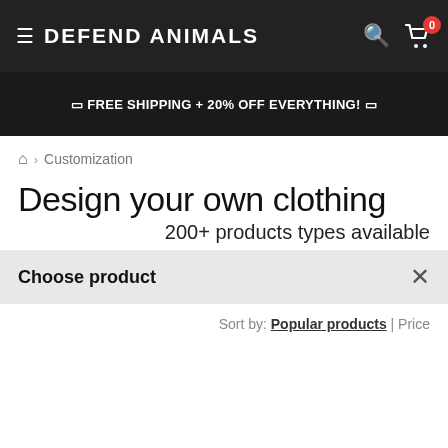DEFEND ANIMALS
🔲 FREE SHIPPING + 20% OFF EVERYTHING! 🔲
🏠 › Customization
Design your own clothing
200+ products types available
Choose product ×
Sort by: Popular products | Price